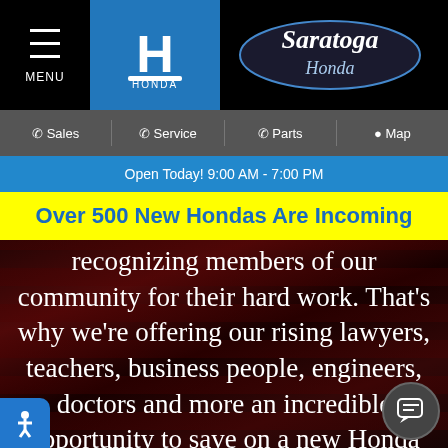[Figure (logo): Saratoga Honda dealership website header with Honda logo in blue box and Saratoga Honda script logo on black background]
Sales  Service  Parts  Map
Open Today! 9:00 AM - 7:00 PM
Over 500 New Hondas Are Incoming
recognizing members of our community for their hard work. That's why we're offering our rising lawyers, teachers, business people, engineers, doctors and more an incredible opportunity to save on a new Honda vehicle. To all current students and recent graduates, now is your chance to save big on your favorite Honda Accord or CR-V for sale